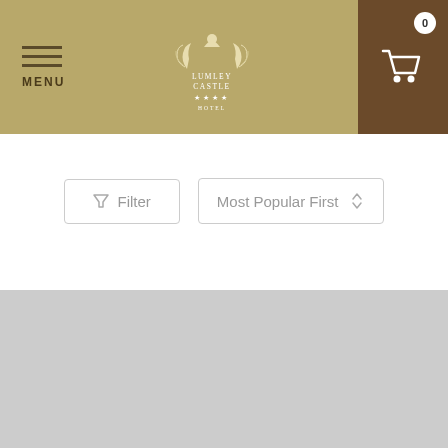MENU | LUMLEY CASTLE | Cart: 0
Filter   Most Popular First
[Figure (photo): Gray placeholder image for a product or room listing]